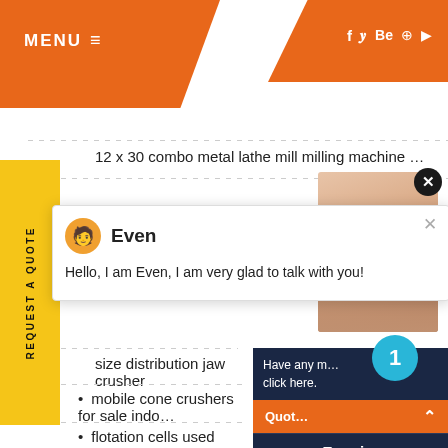MENU
12 x 30 combo metal lathe mill milling machine …
[Figure (screenshot): Chat popup with avatar of Even, showing message: Hello, I am Even, I am very glad to talk with you!]
size distribution jaw crusher
mobile cone crushers for sale indo…
flotation cells used sweden
REQUEST A QUOTE
Have any … click here.
Quot…
Enquiry
drobilkalm